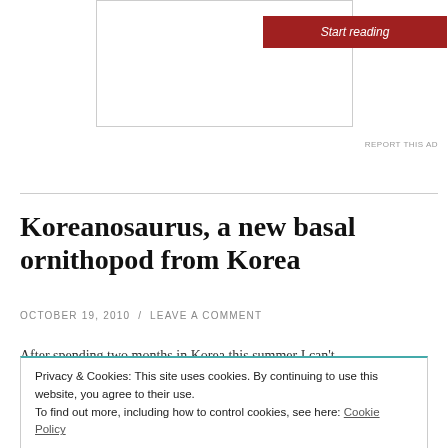[Figure (other): Advertisement box with a red 'Start reading' button inside a bordered rectangle]
REPORT THIS AD
Koreanosaurus, a new basal ornithopod from Korea
OCTOBER 19, 2010 / LEAVE A COMMENT
After spending two months in Korea this summer I can't
Privacy & Cookies: This site uses cookies. By continuing to use this website, you agree to their use.
To find out more, including how to control cookies, see here: Cookie Policy
Close and accept
dinosaur from the Upper Cretaceous of South Korea…